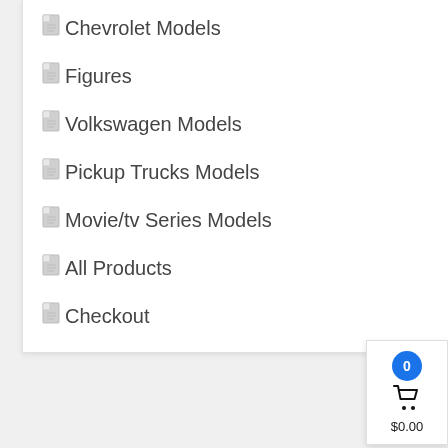Chevrolet Models
Figures
Volkswagen Models
Pickup Trucks Models
Movie/tv Series Models
All Products
Checkout
Home » 1/64 Scale Sets » "Auto Meets" Set Of 6 Cars IN DISPLAY CASES Release 52 1/64 Diecast Model Cars By M2 Machines
[Figure (screenshot): Shopping cart widget showing 0 items and $0.00 total with cart icon and blue badge]
[Figure (photo): Product photo showing diecast model cars at bottom of page]